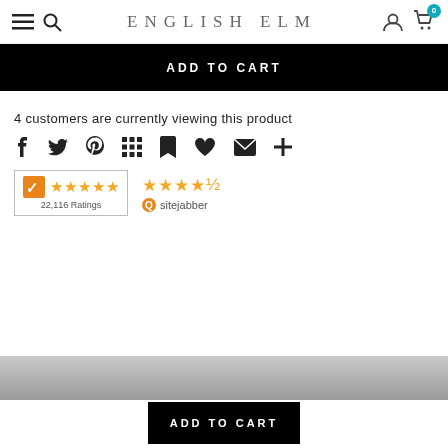English Elm
ADD TO CART
4 customers are currently viewing this product
[Figure (screenshot): Social sharing icons: Facebook, Twitter, Pinterest, Grid/Apps, Bookmark, Heart, Email, Plus]
[Figure (other): Yotpo rating badge showing 4.5 stars, 22,116 Ratings]
[Figure (other): Sitejabber rating badge showing 4.5 stars]
ADD TO CART